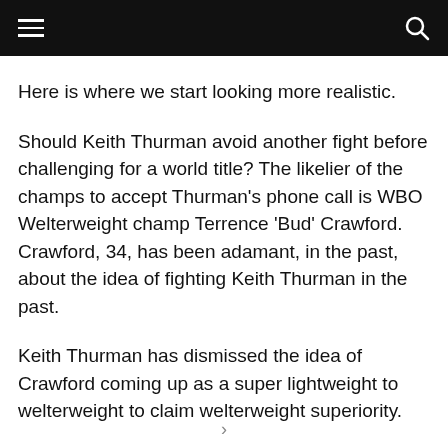Here is where we start looking more realistic.
Should Keith Thurman avoid another fight before challenging for a world title? The likelier of the champs to accept Thurman's phone call is WBO Welterweight champ Terrence 'Bud' Crawford. Crawford, 34, has been adamant, in the past, about the idea of fighting Keith Thurman in the past.
Keith Thurman has dismissed the idea of Crawford coming up as a super lightweight to welterweight to claim welterweight superiority.